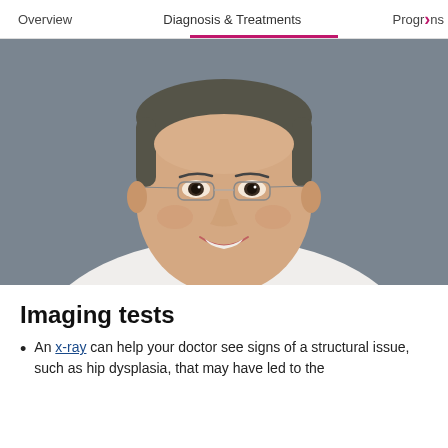Overview | Diagnosis & Treatments | Programs
[Figure (photo): Headshot photo of a smiling male doctor with glasses wearing a white coat, against a gray background]
Imaging tests
An x-ray can help your doctor see signs of a structural issue, such as hip dysplasia, that may have led to the